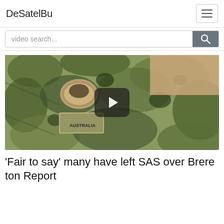DeSatelBu
video search...
[Figure (screenshot): Close-up photo of Australian military camouflage uniform sleeve with Australia patch and badge, shown with a video play button overlay in the center.]
'Fair to say' many have left SAS over Brere ton Report